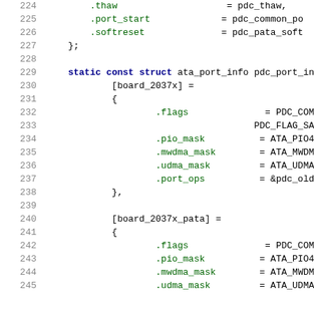Source code listing lines 224-245 of a C file showing ata_port_info and pdc_port_info struct definitions
[Figure (screenshot): C source code showing struct initialization with line numbers 224-245, including static const struct ata_port_info pdc_port_info with board_2037x and board_2037x_pata entries]